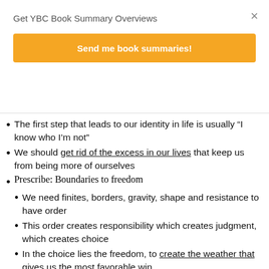Get YBC Book Summary Overviews
Send me book summaries!
The first step that leads to our identity in life is usually “I know who I’m not”
We should get rid of the excess in our lives that keep us from being more of ourselves
Prescribe: Boundaries to freedom
We need finites, borders, gravity, shape and resistance to have order
This order creates responsibility which creates judgment, which creates choice
In the choice lies the freedom, to create the weather that gives us the most favorable win